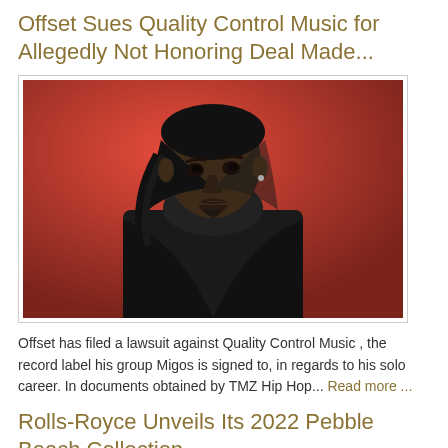Offset Sues Quality Control Music for Allegedly Not Honoring Deal Made...
[Figure (photo): Photo of Offset wearing a black durag and black hoodie/leather jacket against a red background, looking to the side]
Offset has filed a lawsuit against Quality Control Music , the record label his group Migos is signed to, in regards to his solo career. In documents obtained by TMZ Hip Hop... Read more ...
Rolls-Royce Unveils Its 2022 Pebble Beach Collection...